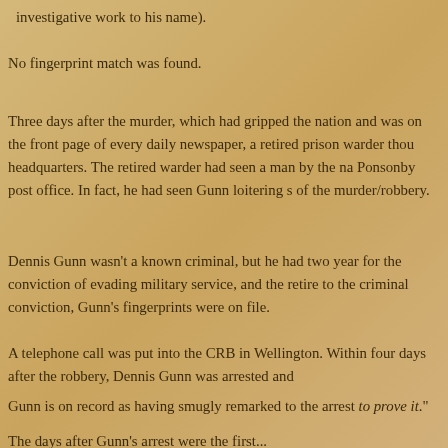investigative work to his name).
No fingerprint match was found.
Three days after the murder, which had gripped the nation and was on the front page of every daily newspaper, a retired prison warder thought he would contact headquarters. The retired warder had seen a man by the name of Gunn near the Ponsonby post office. In fact, he had seen Gunn loitering shortly before the time of the murder/robbery.
Dennis Gunn wasn't a known criminal, but he had two years earlier been convicted for the conviction of evading military service, and the retired warder knew him. Due to the criminal conviction, Gunn's fingerprints were on file.
A telephone call was put into the CRB in Wellington. Within four days after the robbery, Dennis Gunn was arrested and
Gunn is on record as having smugly remarked to the arrest... to prove it."
The days after Gunn's arrest were the first...